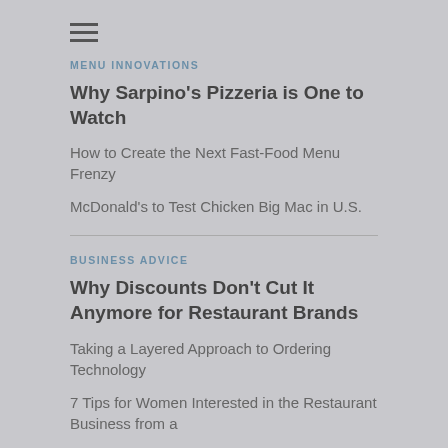[Figure (other): Hamburger menu icon (three horizontal lines)]
MENU INNOVATIONS
Why Sarpino's Pizzeria is One to Watch
How to Create the Next Fast-Food Menu Frenzy
McDonald's to Test Chicken Big Mac in U.S.
BUSINESS ADVICE
Why Discounts Don't Cut It Anymore for Restaurant Brands
Taking a Layered Approach to Ordering Technology
7 Tips for Women Interested in the Restaurant Business from a